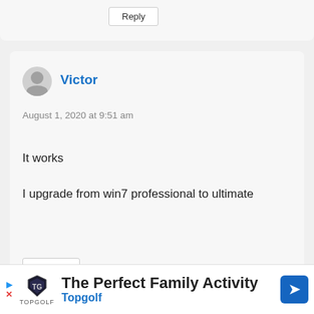Reply
Victor
August 1, 2020 at 9:51 am
It works

I upgrade from win7 professional to ultimate
Reply
Prince Ndubuisi
[Figure (other): Advertisement banner: The Perfect Family Activity - Topgolf, with Topgolf shield logo and blue directional arrow icon]